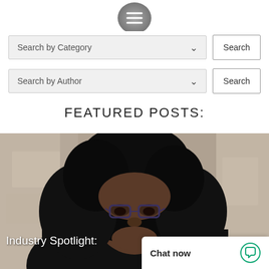[Figure (screenshot): Menu icon button with three horizontal lines (hamburger icon) in a circular grey badge at the top center]
[Figure (screenshot): Search by Category dropdown with Search button]
[Figure (screenshot): Search by Author dropdown with Search button]
FEATURED POSTS:
[Figure (photo): Portrait photo of a Black woman with long curly hair wearing glasses and a dark jacket, looking slightly downward, against a light textured wall background]
Industry Spotlight:
Chat now